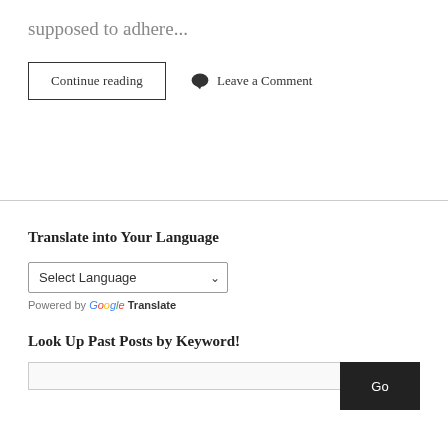supposed to adhere...
Continue reading
Leave a Comment
Translate into Your Language
Select Language
Powered by Google Translate
Look Up Past Posts by Keyword!
Go